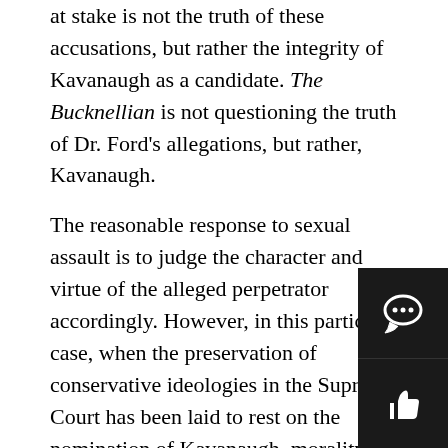at stake is not the truth of these accusations, but rather the integrity of Kavanaugh as a candidate. The Bucknellian is not questioning the truth of Dr. Ford's allegations, but rather, Kavanaugh.
The reasonable response to sexual assault is to judge the character and virtue of the alleged perpetrator accordingly. However, in this particular case, when the preservation of conservative ideologies in the Supreme Court has been laid to rest on the nomination of Kavanaugh, morality has taken the back seat. With November fast approaching, the midterm elections hold just as great a stake in Kavanaugh's nomination as the 2016 presidential election did when Merrick Garland was nominated to the Court. Where some senators, on both sides of the aisle, stand on this issue depends on the safety of their reelection campaigns.
Thus, when the morality of sexual assault simply can…